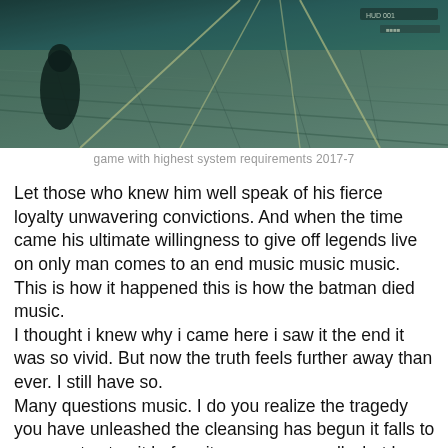[Figure (screenshot): A dark teal/green tinted screenshot from a video game showing a figure in a dark environment with diagonal light beams and a wooden floor. HUD elements visible in the top right corner.]
game with highest system requirements 2017-7
Let those who knew him well speak of his fierce loyalty unwavering convictions. And when the time came his ultimate willingness to give off legends live on only man comes to an end music music music. This is how it happened this is how the batman died music.
I thought i knew why i came here i saw it the end it was so vivid. But now the truth feels further away than ever. I still have so.
Many questions music. I do you realize the tragedy you have unleashed the cleansing has begun it falls to me now to stop it before it consumes us all what have i done the water.